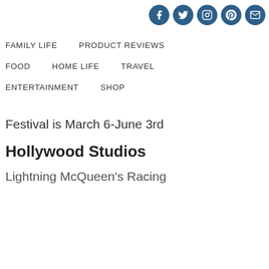Social icons: Facebook, Twitter, Instagram, Pinterest, Email
FAMILY LIFE
PRODUCT REVIEWS
FOOD
HOME LIFE
TRAVEL
ENTERTAINMENT
SHOP
Festival is March 6-June 3rd
Hollywood Studios
Lightning McQueen's Racing